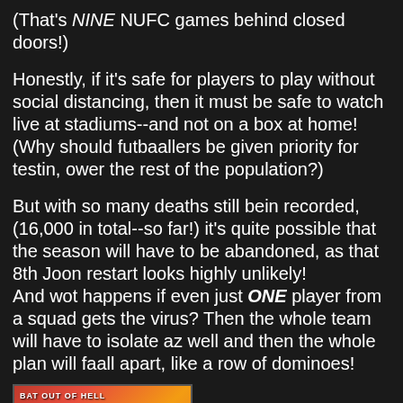(That's NINE NUFC games behind closed doors!)
Honestly, if it's safe for players to play without social distancing, then it must be safe to watch live at stadiums--and not on a box at home! (Why should futbaallers be given priority for testin, ower the rest of the population?)
But with so many deaths still bein recorded, (16,000 in total--so far!) it's quite possible that the season will have to be abandoned, as that 8th Joon restart looks highly unlikely!
And wot happens if even just ONE player from a squad gets the virus? Then the whole team will have to isolate az well and then the whole plan will faall apart, like a row of dominoes!
[Figure (photo): Album cover for 'Bat Out of Hell' - red and orange fiery background with dark silhouette shape, white text reading 'BAT OUT OF HELL' at top left]